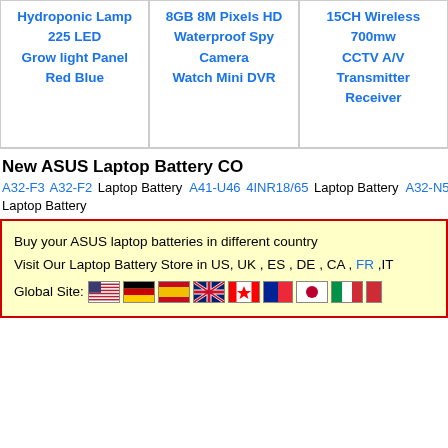Hydroponic Lamp 225 LED Grow light Panel Red Blue
8GB 8M Pixels HD Waterproof Spy Camera Watch Mini DVR
15CH Wireless 700mw CCTV A/V Transmitter Receiver
New ASUS Laptop Battery CO
A32-F3  A32-F2   Laptop Battery    A41-U46  4INR18/65   Laptop Battery   A32-N55  Lapt...  Laptop Battery
Buy your ASUS laptop batteries in different country
Visit Our Laptop Battery Store in US, UK , ES , DE , CA , FR ,IT
Global Site: [flags]